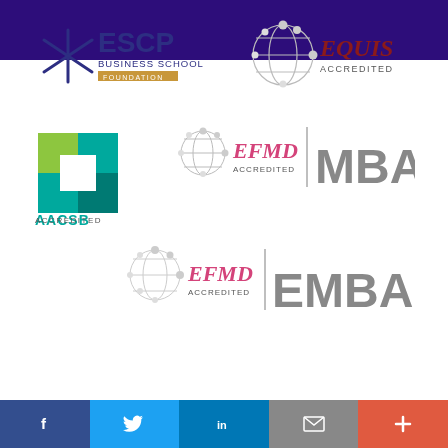[Figure (logo): ESCP Business School Foundation logo with blue asterisk/star mark and dark blue text, gold 'FOUNDATION' underline]
[Figure (logo): EQUIS Accredited logo with grey globe network graphic and dark red italic EQUIS text]
[Figure (logo): AACSB Accredited logo with teal and green square diamond pattern]
[Figure (logo): EFMD Accredited MBA logo with grey globe and pink/red EFMD text and large grey MBA text]
[Figure (logo): EFMD Accredited EMBA logo with grey globe and pink/red EFMD text and large grey EMBA text]
[Figure (infographic): Social media share bar at bottom: Facebook (dark blue), Twitter (light blue), LinkedIn (blue), Email (grey), Plus/More (orange-red)]